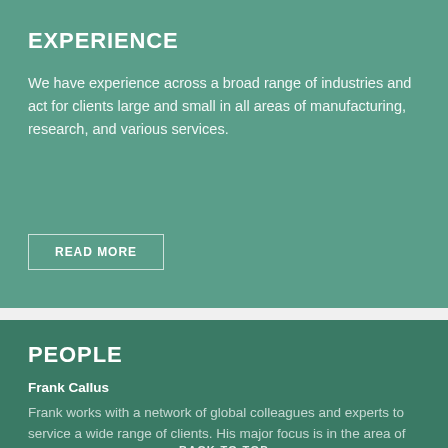EXPERIENCE
We have experience across a broad range of industries and act for clients large and small in all areas of manufacturing, research, and various services.
READ MORE
PEOPLE
Frank Callus
Frank works with a network of global colleagues and experts to service a wide range of clients. His major focus is in the area of
BACK TO TOP